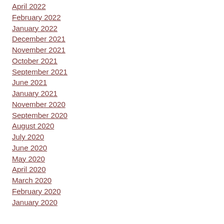April 2022
February 2022
January 2022
December 2021
November 2021
October 2021
September 2021
June 2021
January 2021
November 2020
September 2020
August 2020
July 2020
June 2020
May 2020
April 2020
March 2020
February 2020
January 2020